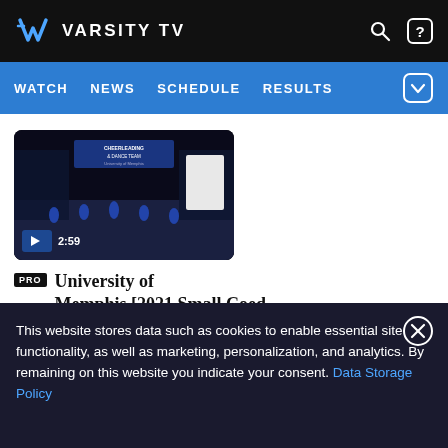VARSITY TV — WATCH  NEWS  SCHEDULE  RESULTS
[Figure (screenshot): Video thumbnail showing cheerleaders performing on a dark stage with 2:59 duration and play button]
PRO  University of Memphis [2021 Small Coed Division IA Finals] 2021
This website stores data such as cookies to enable essential site functionality, as well as marketing, personalization, and analytics. By remaining on this website you indicate your consent. Data Storage Policy